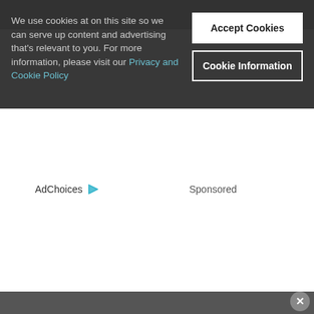We use cookies at on this site so we can serve up content and advertising that's relevant to you. For more information, please visit our Privacy and Cookie Policy
Accept Cookies
Cookie Information
AdChoices ▷
Sponsored